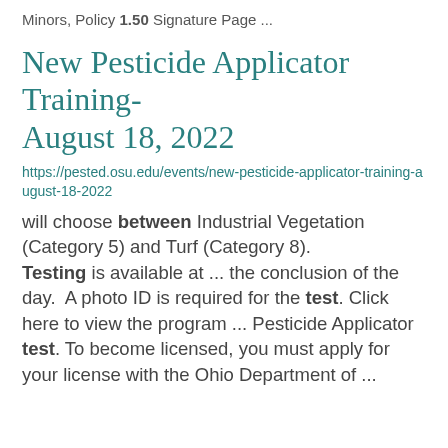Minors, Policy 1.50 Signature Page ...
New Pesticide Applicator Training- August 18, 2022
https://pested.osu.edu/events/new-pesticide-applicator-training-august-18-2022
will choose between Industrial Vegetation (Category 5) and Turf (Category 8). Testing is available at ... the conclusion of the day.  A photo ID is required for the test. Click here to view the program ... Pesticide Applicator test. To become licensed, you must apply for your license with the Ohio Department of ...